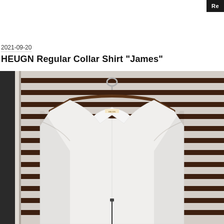Re
2021-09-20
HEUGN Regular Collar Shirt "James"
[Figure (photo): A white dress shirt with a regular collar hanging on a wooden hanger with a metal hook, displayed against a background of horizontal white and dark brown wooden slats/blinds, with a window frame visible on the left side.]